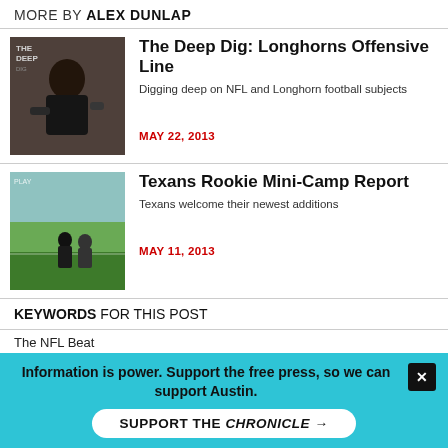MORE BY ALEX DUNLAP
[Figure (photo): Photo thumbnail of a football player being interviewed]
The Deep Dig: Longhorns Offensive Line
Digging deep on NFL and Longhorn football subjects
MAY 22, 2013
[Figure (photo): Photo thumbnail of players on a football field]
Texans Rookie Mini-Camp Report
Texans welcome their newest additions
MAY 11, 2013
KEYWORDS FOR THIS POST
The NFL Beat
MORE IN THE ARCHIVES
Information is power. Support the free press, so we can support Austin.
SUPPORT THE CHRONICLE →